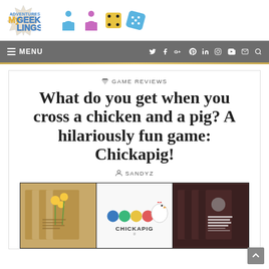[Figure (logo): Adventures with My Geeklings logo with meeple and dice icons]
MENU | social icons: Twitter, Facebook, Google+, Pinterest, LinkedIn, Instagram, YouTube, Email, Search
GAME REVIEWS
What do you get when you cross a chicken and a pig? A hilariously fun game: Chickapig!
SANDYZ
[Figure (photo): Three panel image: left panel shows brown paper bags with yellow flowers and text; center panel shows Chickapig logo with colorful game pieces; right panel shows brown paper bags with white text]